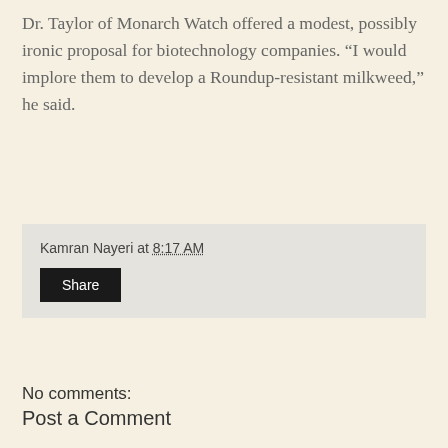Dr. Taylor of Monarch Watch offered a modest, possibly ironic proposal for biotechnology companies. “I would implore them to develop a Roundup-resistant milkweed,” he said.
Kamran Nayeri at 8:17 AM
Share
No comments:
Post a Comment
Home
View web version
About Me